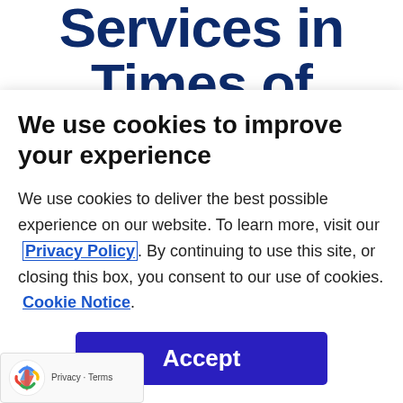Services in Times of COVID
We use cookies to improve your experience
We use cookies to deliver the best possible experience on our website. To learn more, visit our Privacy Policy. By continuing to use this site, or closing this box, you consent to our use of cookies. Cookie Notice.
Accept
delivery of essential services, including the semination and collection of information, d remote work and distance learning.
[Figure (logo): Google reCAPTCHA badge with logo and Privacy - Terms text]